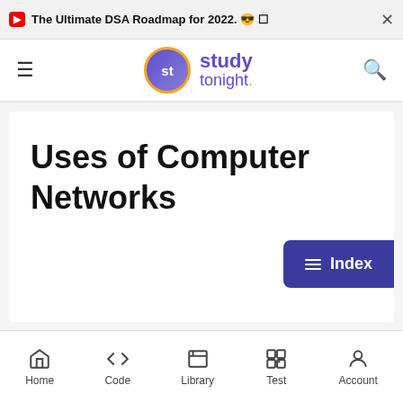▶ The Ultimate DSA Roadmap for 2022. 😎 ☐ ✕
[Figure (logo): Study Tonight logo with purple circle containing 'st', orange border, and 'study tonight.' text in purple]
Uses of Computer Networks
≡ Index
Home  Code  Library  Test  Account